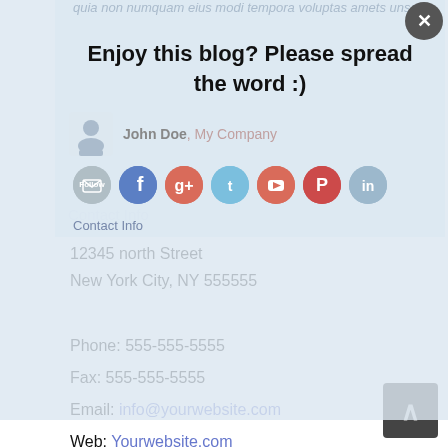quia non numquam eius modi tempora voluptas amets unser.
Enjoy this blog? Please spread the word :)
John Doe, My Company
[Figure (screenshot): Social media sharing buttons: Follow, Facebook, Google+, Twitter, YouTube, Pinterest, LinkedIn]
Contact Info
12345 north Street
New York City, NY 555555
Phone: 555-555-5555
Fax: 555-555-5555
Email: info@yourwebsite.com
Web: Yourwebsite.com